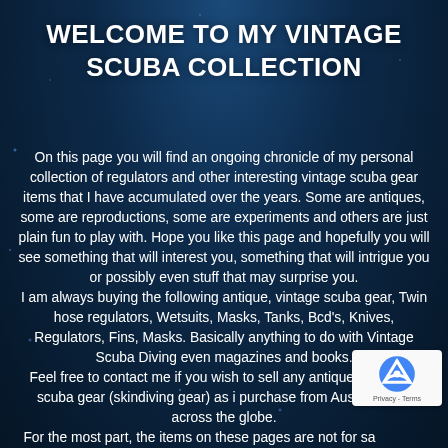WELCOME TO MY VINTAGE SCUBA COLLECTION
On this page you will find an ongoing chronicle of my personal collection of regulators and other interesting vintage scuba gear items that I have accumulated over the years. Some are antiques, some are reproductions, some are experiments and others are just plain fun to play with. Hope you like this page and hopefully you will see something that will interest you, something that will intrigue you or possibly even stuff that may surprise you.
I am always buying the following antique, vintage scuba gear, Twin hose regulators, Wetsuits, Masks, Tanks, Bcd's, Knives, Regulators, Fins, Masks. Basically anything to do with Vintage Scuba Diving even magazines and books.
Feel free to contact me if you wish to sell any antique or vintage scuba gear (skindiving gear) as i purchase from Australia and across the globe.
For the most part, the items on these pages are not for sale at the time unless they have a price on them. However if you see something that strikes your fancy by all means email me and we